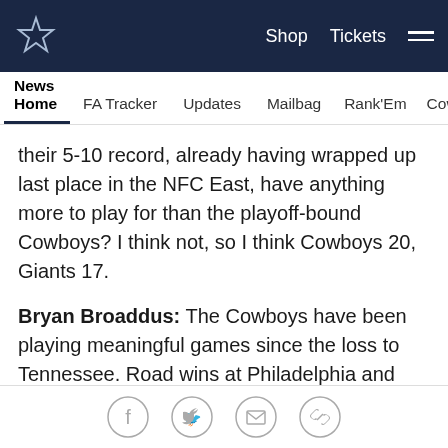Shop  Tickets  ☰
News Home  FA Tracker  Updates  Mailbag  Rank'Em  Cowbuz
their 5-10 record, already having wrapped up last place in the NFC East, have anything more to play for than the playoff-bound Cowboys? I think not, so I think Cowboys 20, Giants 17.
Bryan Broaddus: The Cowboys have been playing meaningful games since the loss to Tennessee. Road wins at Philadelphia and Atlanta, coupled with a spectacular victory against New Orleans, has allowed this front office and coaching staff the luxury to rest players if necessary. Guys like Ezekiel Elliott, Zack Martin and Tyron Smith don't need to play in this game
Social share icons: Facebook, Twitter, Email, Link